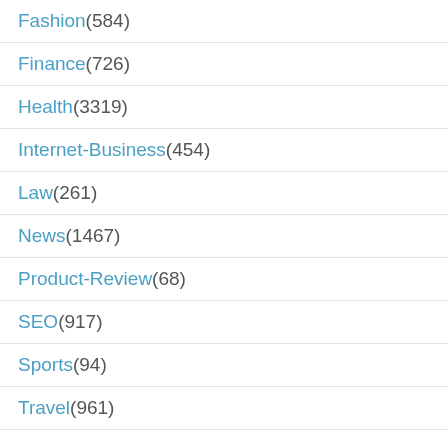Fashion (584)
Finance (726)
Health (3319)
Internet-Business (454)
Law (261)
News (1467)
Product-Review (68)
SEO (917)
Sports (94)
Travel (961)